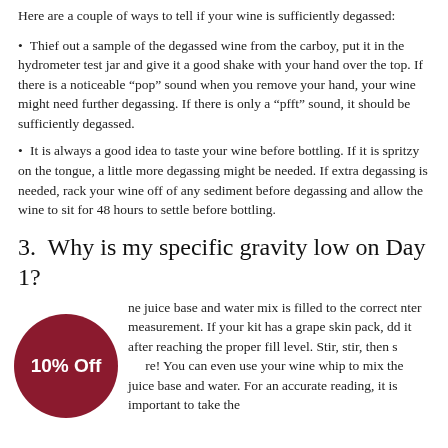Here are a couple of ways to tell if your wine is sufficiently degassed:
Thief out a sample of the degassed wine from the carboy, put it in the hydrometer test jar and give it a good shake with your hand over the top. If there is a noticeable “pop” sound when you remove your hand, your wine might need further degassing. If there is only a “pfft” sound, it should be sufficiently degassed.
It is always a good idea to taste your wine before bottling. If it is spritzy on the tongue, a little more degassing might be needed. If extra degassing is needed, rack your wine off of any sediment before degassing and allow the wine to sit for 48 hours to settle before bottling.
3.  Why is my specific gravity low on Day 1?
Once the juice base and water mix is filled to the correct liter measurement. If your kit has a grape skin pack, add it after reaching the proper fill level. Stir, stir, then stir some more! You can even use your wine whip to mix the juice base and water. For an accurate reading, it is important to take the